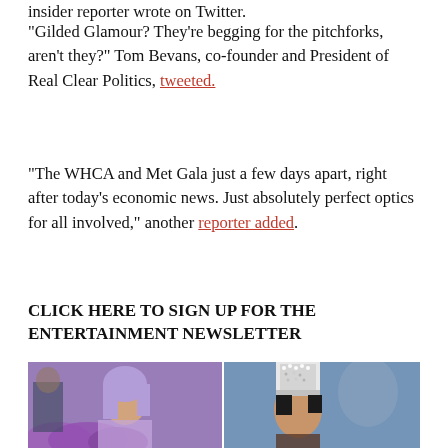insider reporter wrote on Twitter.
“Gilded Glamour? They’re begging for the pitchforks, aren’t they?” Tom Bevans, co-founder and President of Real Clear Politics, tweeted.
“The WHCA and Met Gala just a few days apart, right after today’s economic news. Just absolutely perfect optics for all involved,” another reporter added.
CLICK HERE TO SIGN UP FOR THE ENTERTAINMENT NEWSLETTER
[Figure (photo): Two women in purple/lavender outfits at what appears to be the Met Gala. Left: woman with purple hair and purple feathered outfit. Right: woman wearing an ornate white/silver headdress.]